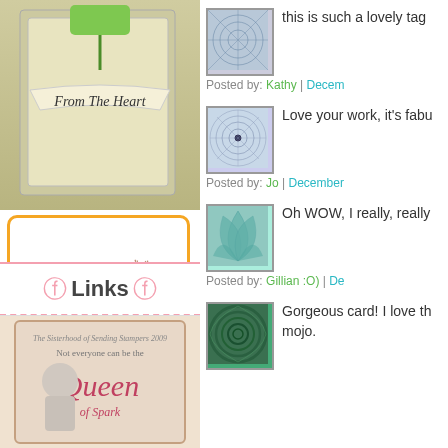[Figure (photo): Handmade card with 'From The Heart' banner tag, green and tan design]
[Figure (logo): Lawn Fawnatics - The Lawn Fawn Challenge Blog - Challenge Winner badge with orange border, green lawn fawn logo, teal challenge winner button]
this is such a lovely tag
Posted by: Kathy | Decem
Love your work, it's fabu
Posted by: Jo | December
Oh WOW, I really, really
Posted by: Gillian :O) | De
Links
[Figure (photo): Queen of Spark scrapbook thumbnail image]
Gorgeous card! I love th mojo.
[Figure (screenshot): Small thumbnail of a geometric circular pattern in blue/grey]
[Figure (screenshot): Small thumbnail of a spiral geometric pattern in light blue]
[Figure (screenshot): Small thumbnail of a fan/leaf pattern in teal]
[Figure (screenshot): Small thumbnail of a swirling pattern in dark green]